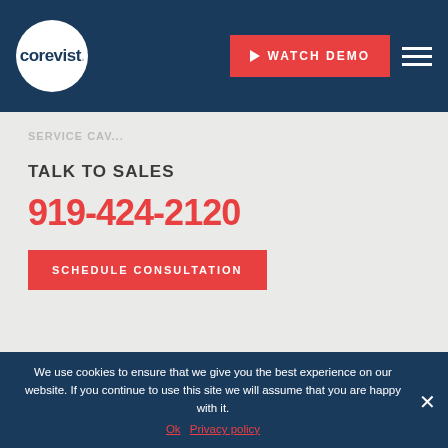corevist. [WATCH DEMO] [menu]
SERVICE CAV...
TALK TO SALES
919-424-2120
SCHEDULE CONSULTATION
We use cookies to ensure that we give you the best experience on our website. If you continue to use this site we will assume that you are happy with it.
Ok   Privacy policy